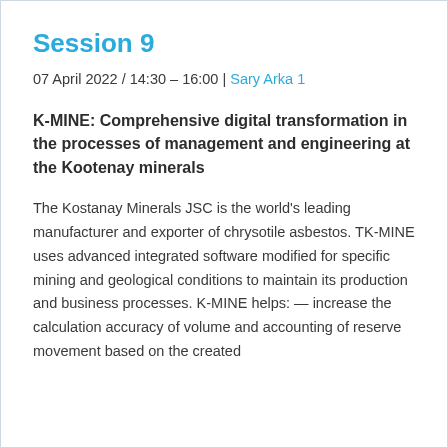Session 9
07 April 2022 / 14:30 – 16:00 | Sary Arka 1
K-MINE: Comprehensive digital transformation in the processes of management and engineering at the Kootenay minerals
The Kostanay Minerals JSC is the world's leading manufacturer and exporter of chrysotile asbestos. TK-MINE uses advanced integrated software modified for specific mining and geological conditions to maintain its production and business processes. K-MINE helps: — increase the calculation accuracy of volume and accounting of reserve movement based on the created